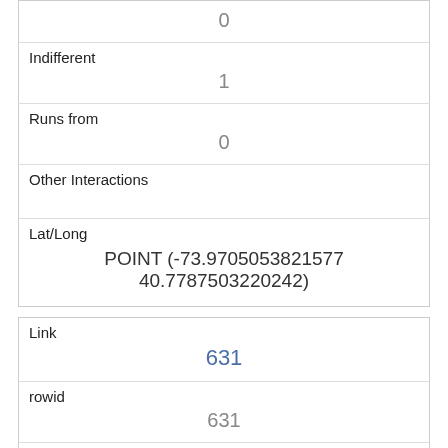| Field | Value |
| --- | --- |
|  | 0 |
| Indifferent | 1 |
| Runs from | 0 |
| Other Interactions |  |
| Lat/Long | POINT (-73.9705053821577 40.7787503220242) |
| Field | Value |
| --- | --- |
| Link | 631 |
| rowid | 631 |
| longitude | -73.95488778301359 |
| latitude | 40.795015748910295 |
| Unique Squirrel ID | 38F-AM-1018-04 |